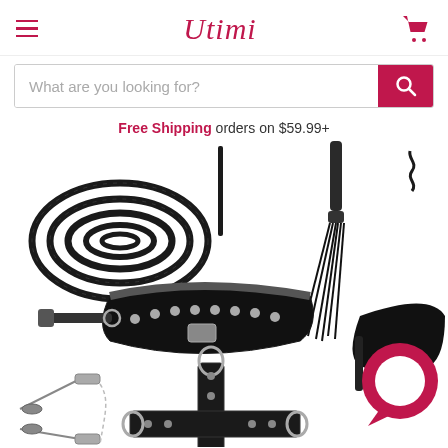Utimi — navigation header with hamburger menu, logo, and cart icon
What are you looking for? (search bar)
Free Shipping orders on $59.99+
[Figure (photo): Product photo showing a bondage kit with black rope, collar with leash, cross restraint, flogger/whip, nipple clamps, blindfold eye mask, and a chat bubble icon. White background.]
January 31, 2019 | Sex Toys Uttimi